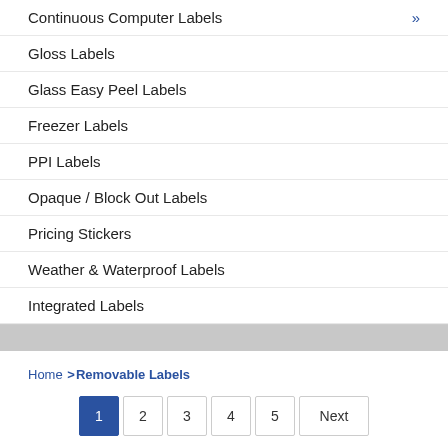Continuous Computer Labels
Gloss Labels
Glass Easy Peel Labels
Freezer Labels
PPI Labels
Opaque / Block Out Labels
Pricing Stickers
Weather & Waterproof Labels
Integrated Labels
Home > Removable Labels
1 2 3 4 5 Next